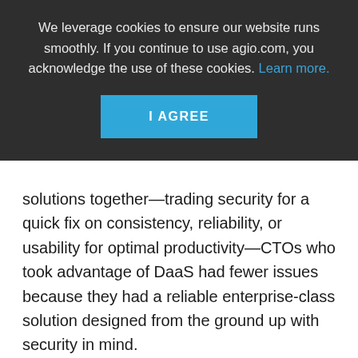We leverage cookies to ensure our website runs smoothly. If you continue to use agio.com, you acknowledge the use of these cookies. Learn more.
I AGREE
solutions together—trading security for a quick fix on consistency, reliability, or usability for optimal productivity—CTOs who took advantage of DaaS had fewer issues because they had a reliable enterprise-class solution designed from the ground up with security in mind.
DaaS scales quickly, deploys applications and functionality fast for remote solutions, and it's a cost-effective way to give data to